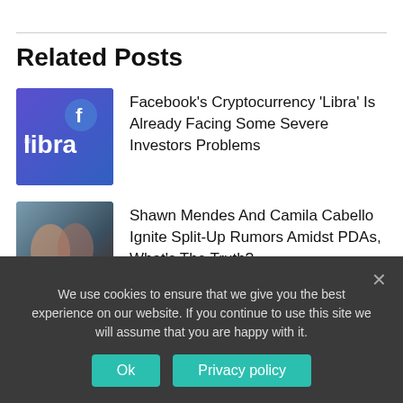Related Posts
Facebook’s Cryptocurrency ‘Libra’ Is Already Facing Some Severe Investors Problems
Shawn Mendes And Camila Cabello Ignite Split-Up Rumors Amidst PDAs, What’s The Truth?
Collection of Mana officially launched on Nintendo Switch
We use cookies to ensure that we give you the best experience on our website. If you continue to use this site we will assume that you are happy with it.
Ok
Privacy policy